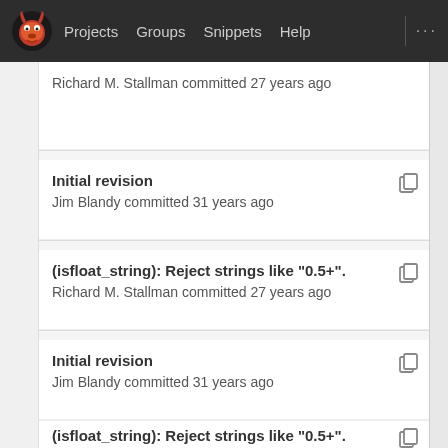Projects  Groups  Snippets  Help
Richard M. Stallman committed 27 years ago
Initial revision
Jim Blandy committed 31 years ago
(isfloat_string): Reject strings like "0.5+".
Richard M. Stallman committed 27 years ago
Initial revision
Jim Blandy committed 31 years ago
(isfloat_string): Reject strings like "0.5+".